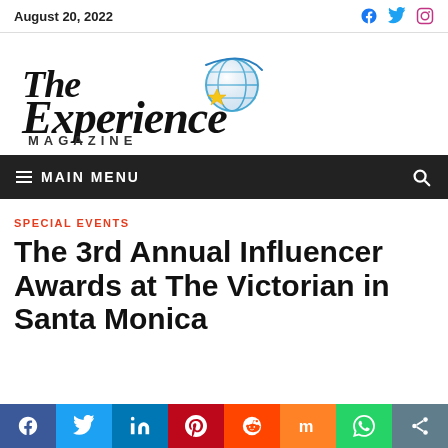August 20, 2022
[Figure (logo): The Experience Magazine logo with globe and star graphic]
≡ MAIN MENU
SPECIAL EVENTS
The 3rd Annual Influencer Awards at The Victorian in Santa Monica